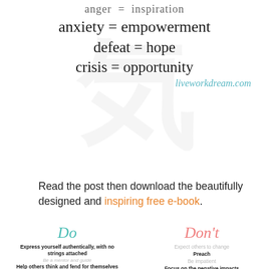[Figure (infographic): Inspirational equations: anger=inspiration (partially visible), anxiety=empowerment, defeat=hope, crisis=opportunity. Watermark kanji character in background. liveworkdream.com credit.]
Read the post then download the beautifully designed and inspiring free e-book.
[Figure (infographic): Two-column Do / Don't list. Do column (teal): Express yourself authentically with no strings attached, Be a mentor and guide, Help others think and fend for themselves, Learn from others, Explain your beliefs in a positive manner, Be the change you wish to see, Lead by example, Walk the talk. Don't column (coral): Expect others to change, Preach, Be impatient, Focus on the negative impacts. Decorative floral ornament bottom right with orange up-arrow button.]